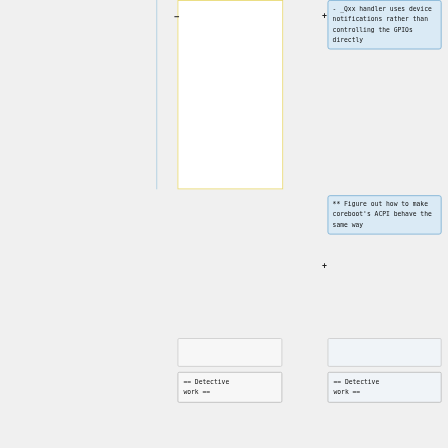[Figure (flowchart): A flowchart/diagram section showing: a yellow-bordered white box on the left (node, partly cropped), a blue highlighted annotation box top-right reading '- _Qxx handler uses device notifications rather than controlling the GPIOs directly', a second blue annotation box middle-right reading '** Figure out how to make coreboot's ACPI behave the same way', two gray/light node boxes at the bottom, and two text boxes at the bottom reading '== Detective work =='.]
- _Qxx handler uses device notifications rather than controlling the GPIOs directly
** Figure out how to make coreboot's ACPI behave the same way
== Detective work ==
== Detective work ==